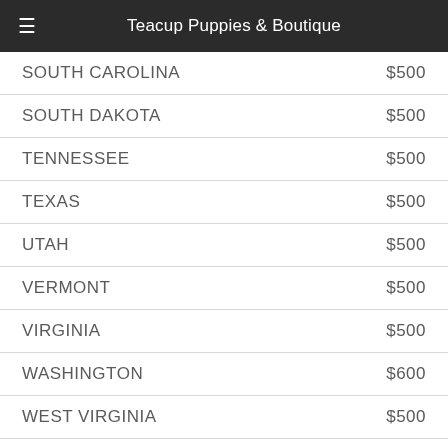Teacup Puppies & Boutique
| State | Price |
| --- | --- |
| SOUTH CAROLINA | $500 |
| SOUTH DAKOTA | $500 |
| TENNESSEE | $500 |
| TEXAS | $500 |
| UTAH | $500 |
| VERMONT | $500 |
| VIRGINIA | $500 |
| WASHINGTON | $600 |
| WEST VIRGINIA | $500 |